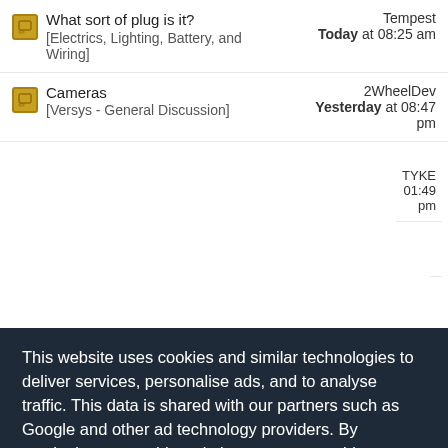What sort of plug is it? [Electrics, Lighting, Battery, and Wiring] — Tempest Today at 08:25 am
Cameras [Versys - General Discussion] — 2WheelDev Yesterday at 08:47 pm
This website uses cookies and similar technologies to deliver services, personalise ads, and to analyse traffic. This data is shared with our partners such as Google and other ad technology providers. By continuing to use this website you agree to this.
View our Privacy and Cookie Policy
I Agree